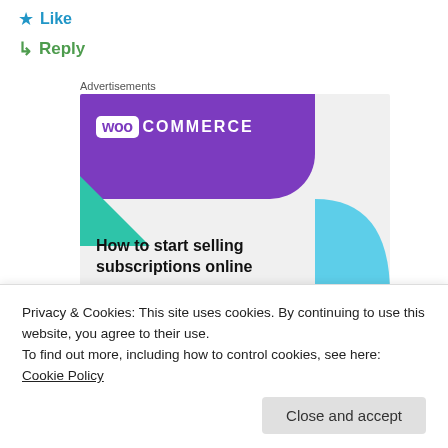Like
Reply
Advertisements
[Figure (illustration): WooCommerce advertisement banner with purple background, WooCommerce logo, green triangle decoration, blue quarter-circle decoration, and text 'How to start selling subscriptions online']
Thank you a bunch for sharing this with all
Privacy & Cookies: This site uses cookies. By continuing to use this website, you agree to their use.
To find out more, including how to control cookies, see here: Cookie Policy
Close and accept